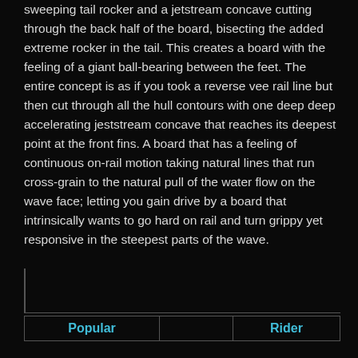sweeping tail rocker and a jetstream concave cutting through the back half of the board, bisecting the added extreme rocker in the tail. This creates a board with the feeling of a giant ball-bearing between the feet. The entire concept is as if you took a reverse vee rail line but then cut through all the hull contours with one deep deep accelerating jeststream concave that reaches its deepest point at the front fins. A board that has a feeling of continuous on-rail motion taking natural lines that run cross-grain to the natural pull of the water flow on the wave face; letting you gain drive by a board that intrinsically wants to go hard on rail and turn grippy yet responsive in the steepest parts of the wave.
| Popular |  | Rider |
| --- | --- | --- |